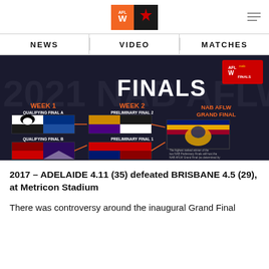AFL W (logo) | NEWS | VIDEO | MATCHES
[Figure (infographic): 2021 NAB AFLW Finals bracket infographic showing Week 1 (Qualifying Final A: Collingwood vs North Melbourne, Qualifying Final B: North Melbourne vs Fremantle), Week 2 (Preliminary Final 2 and Preliminary Final 1), and NAB AFLW Grand Final with Brisbane Lions logo. Dark background with team logos and arrows showing progression.]
2017 – ADELAIDE 4.11 (35) defeated BRISBANE 4.5 (29), at Metricon Stadium
There was controversy around the inaugural Grand Final